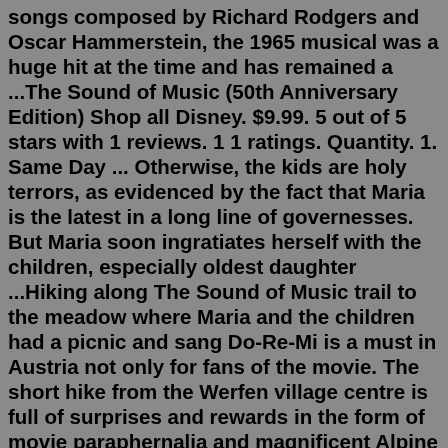songs composed by Richard Rodgers and Oscar Hammerstein, the 1965 musical was a huge hit at the time and has remained a ...The Sound of Music (50th Anniversary Edition) Shop all Disney. $9.99. 5 out of 5 stars with 1 reviews. 1 1 ratings. Quantity. 1. Same Day ... Otherwise, the kids are holy terrors, as evidenced by the fact that Maria is the latest in a long line of governesses. But Maria soon ingratiates herself with the children, especially oldest daughter ...Hiking along The Sound of Music trail to the meadow where Maria and the children had a picnic and sang Do-Re-Mi is a must in Austria not only for fans of the movie. The short hike from the Werfen village centre is full of surprises and rewards in the form of movie paraphernalia and magnificent Alpine views. ... Sound of Music Trail: Sing-a-Long ...So long, farewell Auf Wiedersehen, goodbye (Kurt) I leave and heave A sigh and say goodbye--Goodbye! (Brigitta) I'm glad to go I cannot tell a lie (Louisa) I flit, I float I fleetly flee, I fly (Gretel) The sun has gone To bed and so must I